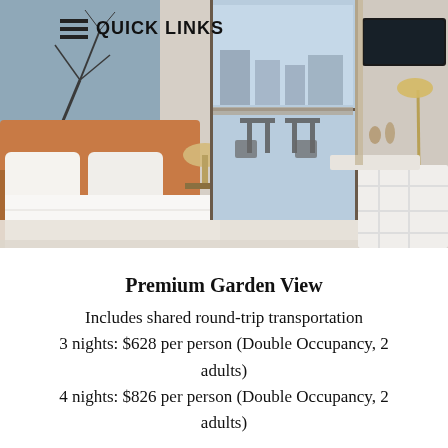[Figure (photo): Hotel room interior showing a large bed with white linens, side lamps, a balcony with outdoor seating, wall art, TV mounted on wall, and white shelving unit. 'QUICK LINKS' navigation header overlaid on top left of image.]
Premium Garden View
Includes shared round-trip transportation
3 nights: $628 per person (Double Occupancy, 2 adults)
4 nights: $826 per person (Double Occupancy, 2 adults)